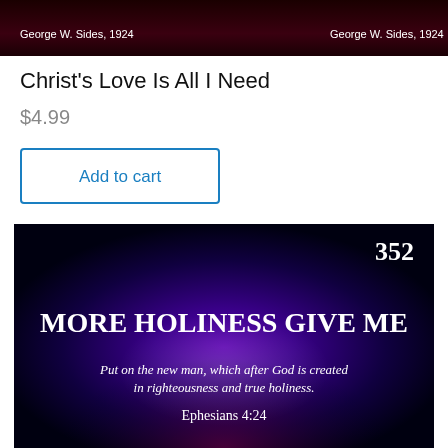[Figure (photo): Book cover image with dark red/black background showing text 'George W. Sides, 1924' on left and right sides]
Christ's Love Is All I Need
$4.99
[Figure (photo): Dark blue/black background hymn slide showing number 352, title 'MORE HOLINESS GIVE ME', scripture quote 'Put on the new man, which after God is created in righteousness and true holiness.' and reference 'Ephesians 4:24']